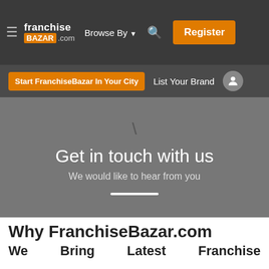franchise BAZAR .com  Browse By ▾  🔍  Register
Start FranchiseBazar In Your City   List Your Brand
Get in touch with us
We would like to hear from you
Why FranchiseBazar.com
We Bring Latest Franchise Opportunities In India Everyday Offering The Best Franchise In India